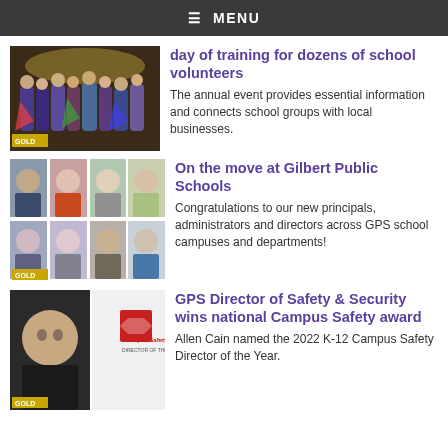≡ MENU
day of training for dozens of school volunteers
The annual event provides essential information and connects school groups with local businesses.
[Figure (photo): Group of school volunteers on a stage, some wearing superhero capes, with a GOLD banner.]
On the move at Gilbert Public Schools
Congratulations to our new principals, administrators and directors across GPS school campuses and departments!
[Figure (photo): A 4x2 grid of headshots of new principals and administrators at Gilbert Public Schools, with GOLD badge.]
GPS Director of Safety & Security wins national Campus Safety award
Allen Cain named the 2022 K-12 Campus Safety Director of the Year.
[Figure (photo): Headshot of Allen Cain alongside Campus Safety Director of the Year award logo, with GOLD badge.]